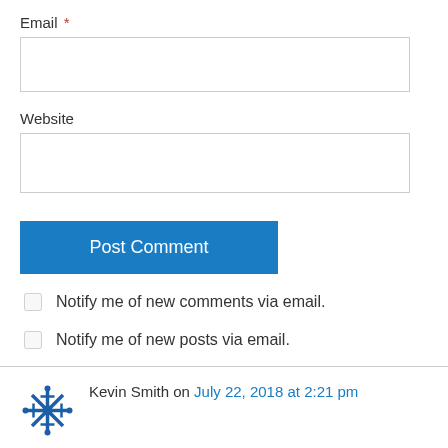Email *
Website
Post Comment
Notify me of new comments via email.
Notify me of new posts via email.
Kevin Smith on July 22, 2018 at 2:21 pm
Thanks for the great details! I was with a group yesterday who made it to the top and then went